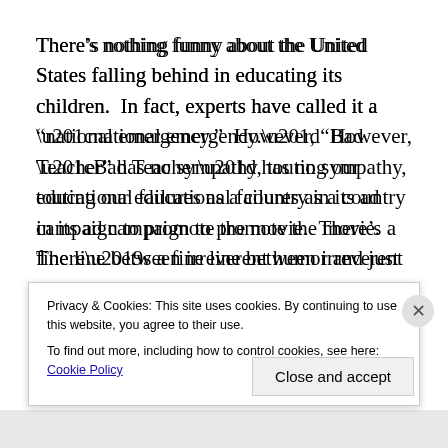There's nothing funny about the United States falling behind in educating its children.  In fact, experts have called it a “national emergency.”  However, “Bad Teacher” has no sympathy, touting our educational failures as a country in its ad campaign to promote the movie.  There’s a fine line between irreverent humor and just plain tasteless and inappropriate comedy, and Jake Kasdan’s film…
Privacy & Cookies: This site uses cookies. By continuing to use this website, you agree to their use.
To find out more, including how to control cookies, see here: Cookie Policy